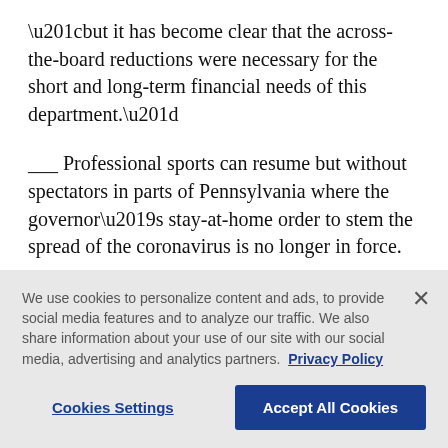“but it has become clear that the across-the-board reductions were necessary for the short and long-term financial needs of this department.”
___ Professional sports can resume but without spectators in parts of Pennsylvania where the governor’s stay-at-home order to stem the spread of the coronavirus is no longer in force.
Gov. Tom Wolf’s administration said Wednesday that teams and competitors will be allowed to practice or
We use cookies to personalize content and ads, to provide social media features and to analyze our traffic. We also share information about your use of our site with our social media, advertising and analytics partners. Privacy Policy